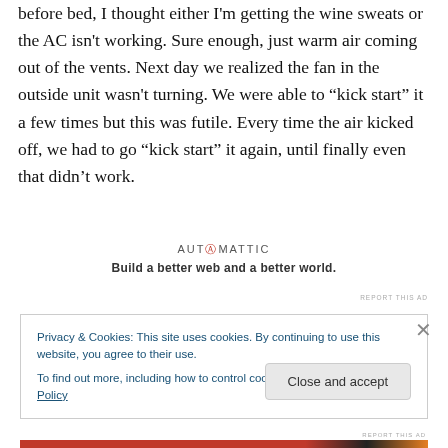before bed, I thought either I'm getting the wine sweats or the AC isn't working. Sure enough, just warm air coming out of the vents. Next day we realized the fan in the outside unit wasn't turning. We were able to “kick start” it a few times but this was futile. Every time the air kicked off, we had to go “kick start” it again, until finally even that didn’t work.
[Figure (other): Automattic advertisement: logo with red @ symbol, tagline 'Build a better web and a better world.']
Privacy & Cookies: This site uses cookies. By continuing to use this website, you agree to their use.
To find out more, including how to control cookies, see here: Cookie Policy